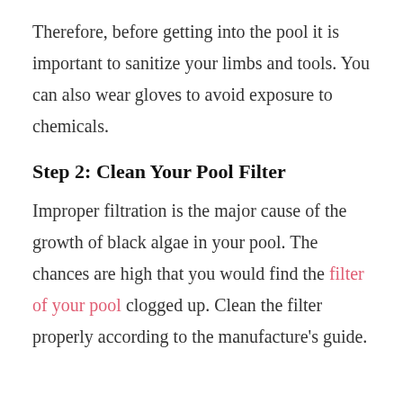Therefore, before getting into the pool it is important to sanitize your limbs and tools. You can also wear gloves to avoid exposure to chemicals.
Step 2: Clean Your Pool Filter
Improper filtration is the major cause of the growth of black algae in your pool. The chances are high that you would find the filter of your pool clogged up. Clean the filter properly according to the manufacture's guide.